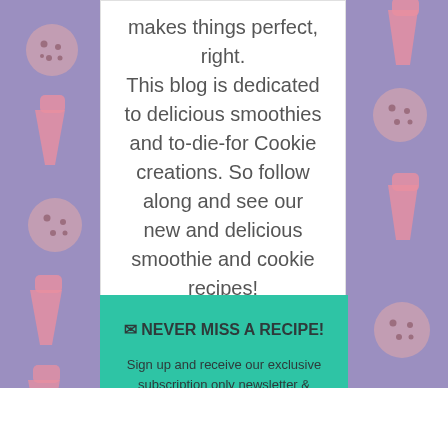This blog is dedicated to delicious smoothies and to-die-for Cookie creations. So follow along and see our new and delicious smoothie and cookie recipes!
✉ NEVER MISS A RECIPE!
Sign up and receive our exclusive subscription only newsletter & special